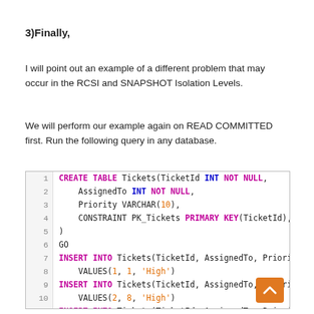3)Finally,
I will point out an example of a different problem that may occur in the RCSI and SNAPSHOT Isolation Levels.
We will perform our example again on READ COMMITTED first. Run the following query in any database.
[Figure (screenshot): SQL code block with line numbers 1-13 showing CREATE TABLE Tickets with columns TicketId INT NOT NULL, AssignedTo INT NOT NULL, Priority VARCHAR(10), CONSTRAINT PK_Tickets PRIMARY KEY(TicketId), followed by GO, and three INSERT INTO Tickets statements with VALUES (1,1,'High'), (2,8,'High'), (3,10,'High') and a final go statement.]